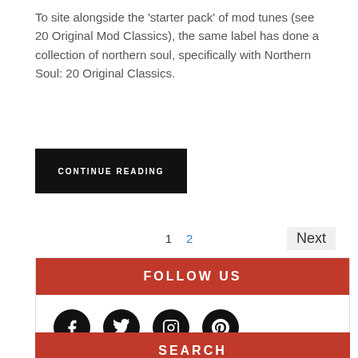To site alongside the 'starter pack' of mod tunes (see 20 Original Mod Classics), the same label has done a collection of northern soul, specifically with Northern Soul: 20 Original Classics.
CONTINUE READING
1  2  Next
FOLLOW US
[Figure (infographic): Four social media icons: Facebook, Twitter, Instagram, Pinterest — each as a white icon on a black circle]
SEARCH